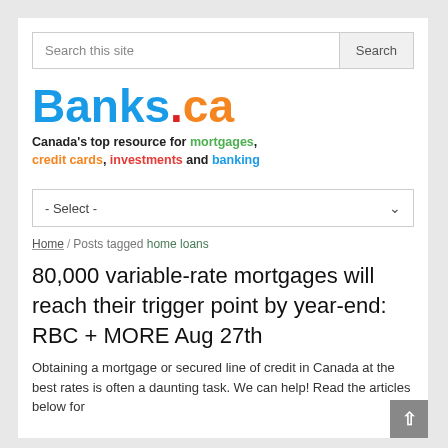[Figure (logo): Banks.ca logo with tagline: Canada's top resource for mortgages, credit cards, investments and banking]
- Select -
Home / Posts tagged home loans
80,000 variable-rate mortgages will reach their trigger point by year-end: RBC + MORE Aug 27th
Obtaining a mortgage or secured line of credit in Canada at the best rates is often a daunting task. We can help! Read the articles below for